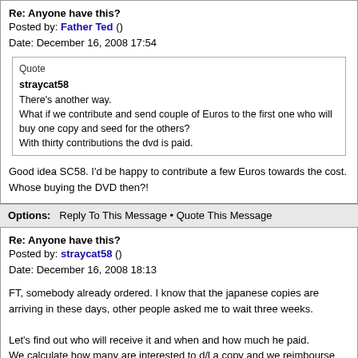Re: Anyone have this?
Posted by: Father Ted ()
Date: December 16, 2008 17:54
Quote
straycat58
There's another way.
What if we contribute and send couple of Euros to the first one who will buy one copy and seed for the others?
With thirty contributions the dvd is paid.
Good idea SC58. I'd be happy to contribute a few Euros towards the cost. Whose buying the DVD then?!
Options:   Reply To This Message • Quote This Message
Re: Anyone have this?
Posted by: straycat58 ()
Date: December 16, 2008 18:13
FT, somebody already ordered. I know that the japanese copies are arriving in these days, other people asked me to wait three weeks.

Let's find out who will receive it and when and how much he paid.
We calculate how many are interested to d/l a copy and we reimbourse the seeder.

From my side I'm ready to pay my part, with you we're two.
The more we gather, the less we pay.